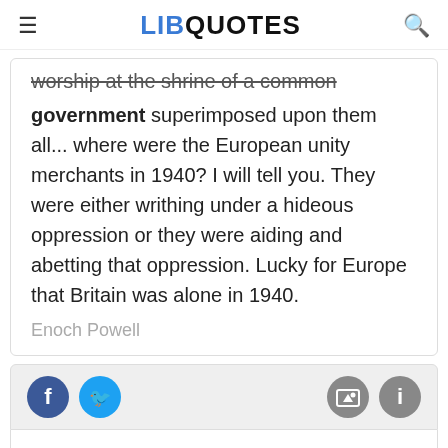≡  LIBQUOTES  🔍
worship at the shrine of a common government superimposed upon them all... where were the European unity merchants in 1940? I will tell you. They were either writhing under a hideous oppression or they were aiding and abetting that oppression. Lucky for Europe that Britain was alone in 1940.
Enoch Powell
[Figure (infographic): Social share buttons: Facebook (blue circle with f), Twitter (blue circle with bird icon), and two grey circles with image and info icons]
All government rests upon consent, and